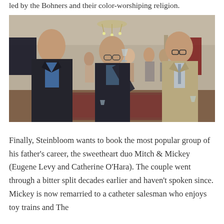led by the Bohners and their color-worshiping religion.
[Figure (photo): Three men in a lavishly decorated room at what appears to be a cocktail party. The man on the left wears a dark jacket with a blue shirt. The man in the center, bald with glasses, holds a martini glass raised. The man on the right wears a beige suit. Several other party guests are visible in the background along with chandeliers and artwork on the walls.]
Finally, Steinbloom wants to book the most popular group of his father’s career, the sweetheart duo Mitch & Mickey (Eugene Levy and Catherine O’Hara). The couple went through a bitter split decades earlier and haven't spoken since. Mickey is now remarried to a catheter salesman who enjoys toy trains and The